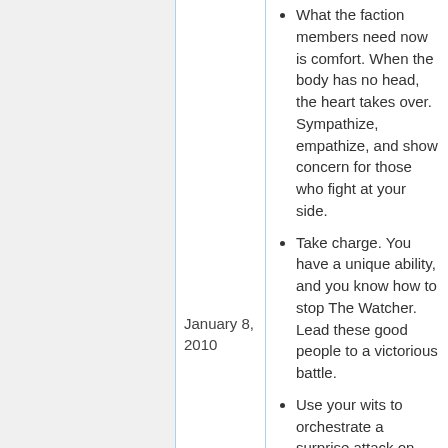January 8, 2010
What the faction members need now is comfort. When the body has no head, the heart takes over. Sympathize, empathize, and show concern for those who fight at your side.
Take charge. You have a unique ability, and you know how to stop The Watcher. Lead these good people to a victorious battle.
Use your wits to orchestrate a surprise attack on